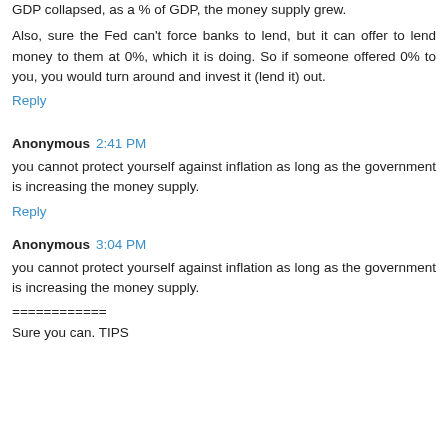GDP collapsed, as a % of GDP, the money supply grew.
Also, sure the Fed can't force banks to lend, but it can offer to lend money to them at 0%, which it is doing. So if someone offered 0% to you, you would turn around and invest it (lend it) out.
Reply
Anonymous  2:41 PM
you cannot protect yourself against inflation as long as the government is increasing the money supply.
Reply
Anonymous  3:04 PM
you cannot protect yourself against inflation as long as the government is increasing the money supply.
============
Sure you can. TIPS